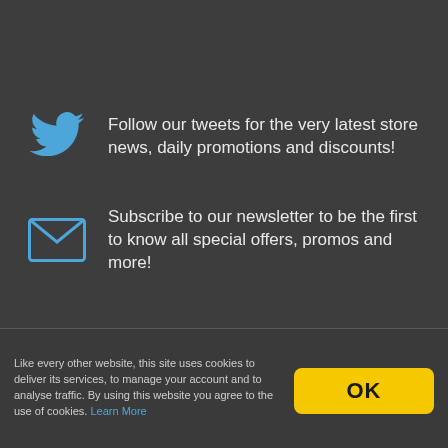Follow our tweets for the very latest store news, daily promotions and discounts!
Subscribe to our newsletter to be the first to know all special offers, promos and more!
Like every other website, this site uses cookies to deliver its services, to manage your account and to analyse traffic. By using this website you agree to the use of cookies. Learn More
OK